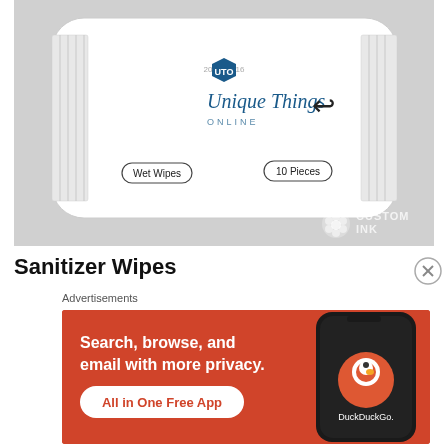[Figure (photo): Product image of Unique Things Online branded wet wipes packet (10 pieces) on gray background with Custom Ink watermark]
Sanitizer Wipes
Advertisements
[Figure (infographic): DuckDuckGo advertisement banner with orange background: 'Search, browse, and email with more privacy. All in One Free App' with phone showing DuckDuckGo app]